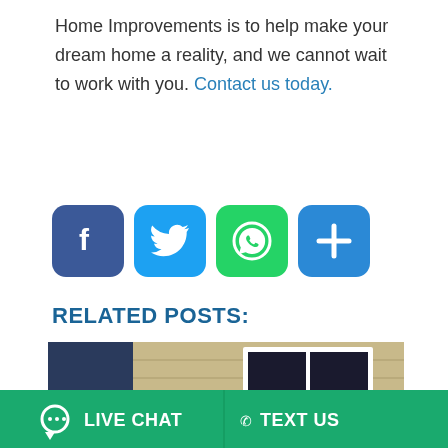Home Improvements is to help make your dream home a reality, and we cannot wait to work with you. Contact us today.
[Figure (infographic): Social sharing icons: Facebook (blue), Twitter (light blue), WhatsApp (green), Share/More (blue)]
RELATED POSTS:
[Figure (photo): Photo of a house siding with a white window, with an online agent chat overlay showing a woman smiling and a chat bubble]
[Figure (infographic): Bottom bar with LIVE CHAT and TEXT US buttons on green background]